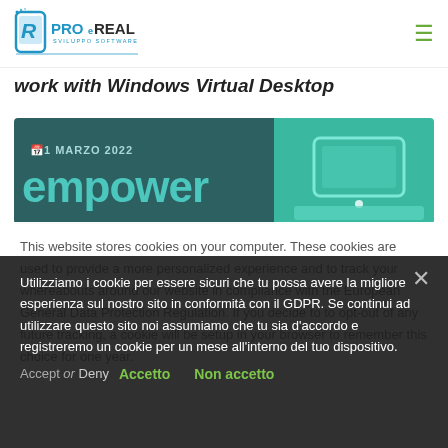PROeREAL SVILUPPO SOFTWARE — navigation header with hamburger menu
work with Windows Virtual Desktop
[Figure (screenshot): Banner image with dark teal background showing '1 MARZO 2022' and the word 'empower' in large text, with a teal device illustration on the right]
This website stores cookies on your computer. These cookies are used to provide a more personalized experience and to track your whereabouts around our website in compliance with the European General Data Protection Regulation. If you decide to to opt-out of any future tracking, a cookie will be setup in your browser to remember this choice for one year. Accept or Deny
Utilizziamo i cookie per essere sicuri che tu possa avere la migliore esperienza sul nostro sito in conformità con il GDPR. Se continui ad utilizzare questo sito noi assumiamo che tu sia d'accordo e registreremo un cookie per un mese all'interno del tuo dispositivo.
Accetto   Non accetto